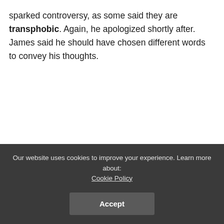sparked controversy, as some said they are transphobic. Again, he apologized shortly after. James said he should have chosen different words to convey his thoughts.
Our website uses cookies to improve your experience. Learn more about: Cookie Policy Accept